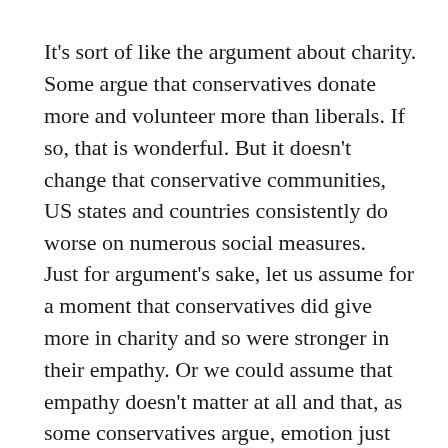It's sort of like the argument about charity. Some argue that conservatives donate more and volunteer more than liberals. If so, that is wonderful. But it doesn't change that conservative communities, US states and countries consistently do worse on numerous social measures.
Just for argument's sake, let us assume for a moment that conservatives did give more in charity and so were stronger in their empathy. Or we could assume that empathy doesn't matter at all and that, as some conservatives argue, emotion just gets in the way of